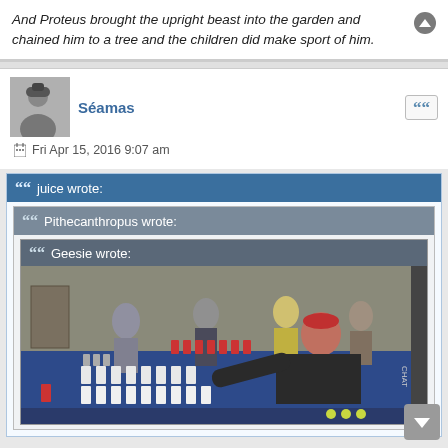And Proteus brought the upright beast into the garden and chained him to a tree and the children did make sport of him.
Séamas
Fri Apr 15, 2016 9:07 am
juice wrote:
Pithecanthropus wrote:
Geesie wrote:
[Figure (photo): People gathered around a blue ping pong table with white plastic cups arranged in formation and red solo cups, playing a drinking game. A man in a black shirt is leaning across the table.]